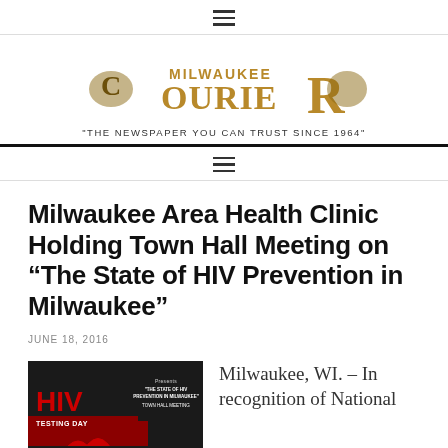≡
[Figure (logo): Milwaukee Courier newspaper logo with decorative golden lettering and lion emblems]
"THE NEWSPAPER YOU CAN TRUST SINCE 1964"
≡
Milwaukee Area Health Clinic Holding Town Hall Meeting on “The State of HIV Prevention in Milwaukee”
JUNE 18, 2016
[Figure (photo): HIV Testing Day town hall meeting event flyer showing red ribbon, Wednesday June 22, 2016]
Milwaukee, WI. – In recognition of National